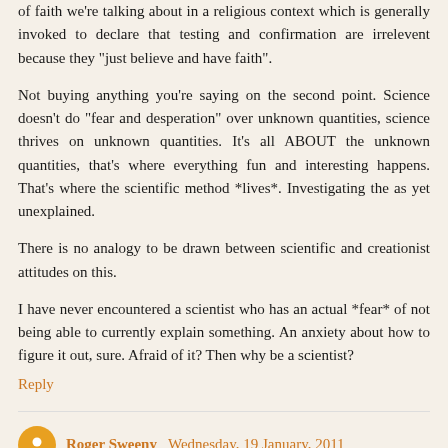of faith we're talking about in a religious context which is generally invoked to declare that testing and confirmation are irrelevent because they "just believe and have faith".
Not buying anything you're saying on the second point. Science doesn't do "fear and desperation" over unknown quantities, science thrives on unknown quantities. It's all ABOUT the unknown quantities, that's where everything fun and interesting happens. That's where the scientific method *lives*. Investigating the as yet unexplained.
There is no analogy to be drawn between scientific and creationist attitudes on this.
I have never encountered a scientist who has an actual *fear* of not being able to currently explain something. An anxiety about how to figure it out, sure. Afraid of it? Then why be a scientist?
Reply
Roger Sweeny  Wednesday, 19 January, 2011
Scientists certainly want to venture into the unknown but most